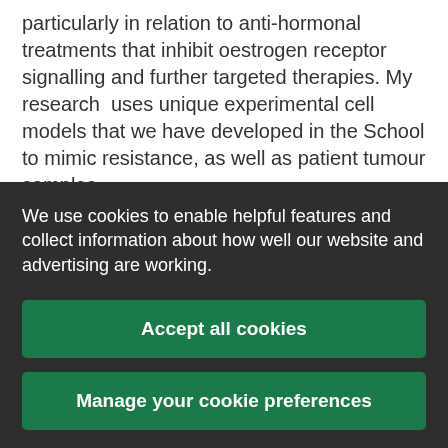particularly in relation to anti-hormonal treatments that inhibit oestrogen receptor signalling and further targeted therapies. My research  uses unique experimental cell models that we have developed in the School to mimic resistance, as well as patient tumour samples.

Our group spearheaded the concept that such cancer treatments can actively induce compensatory
We use cookies to enable helpful features and collect information about how well our website and advertising are working.
Accept all cookies
Manage your cookie preferences